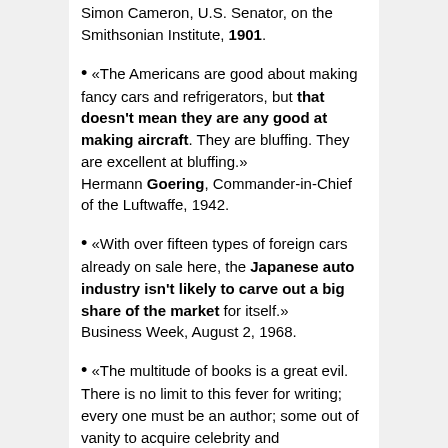Simon Cameron, U.S. Senator, on the Smithsonian Institute, 1901.
«The Americans are good about making fancy cars and refrigerators, but that doesn't mean they are any good at making aircraft. They are bluffing. They are excellent at bluffing.» Hermann Goering, Commander-in-Chief of the Luftwaffe, 1942.
«With over fifteen types of foreign cars already on sale here, the Japanese auto industry isn't likely to carve out a big share of the market for itself.» Business Week, August 2, 1968.
«The multitude of books is a great evil. There is no limit to this fever for writing; every one must be an author; some out of vanity to acquire celebrity and...